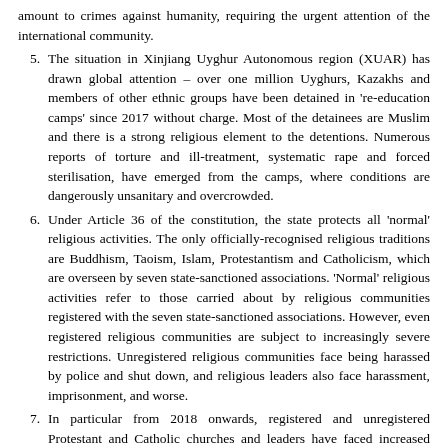(partial) amount to crimes against humanity, requiring the urgent attention of the international community.
5. The situation in Xinjiang Uyghur Autonomous region (XUAR) has drawn global attention – over one million Uyghurs, Kazakhs and members of other ethnic groups have been detained in 're-education camps' since 2017 without charge. Most of the detainees are Muslim and there is a strong religious element to the detentions. Numerous reports of torture and ill-treatment, systematic rape and forced sterilisation, have emerged from the camps, where conditions are dangerously unsanitary and overcrowded.
6. Under Article 36 of the constitution, the state protects all 'normal' religious activities. The only officially-recognised religious traditions are Buddhism, Taoism, Islam, Protestantism and Catholicism, which are overseen by seven state-sanctioned associations. 'Normal' religious activities refer to those carried about by religious communities registered with the seven state-sanctioned associations. However, even registered religious communities are subject to increasingly severe restrictions. Unregistered religious communities face being harassed by police and shut down, and religious leaders also face harassment, imprisonment, and worse.
7. In particular from 2018 onwards, registered and unregistered Protestant and Catholic churches and leaders have faced increased harassment, fines, cross removals, confiscation of property and forced closure across the country. Pastors who have spoken out against the violations have been detained and some have received lengthy prison sentences.
8. Human rights defenders (particularly human rights lawyers who take